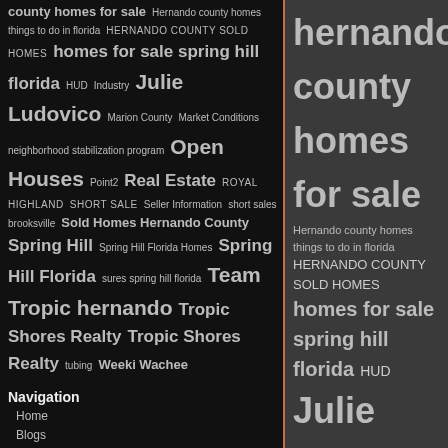county homes for sale Hernando county homes things to do in florida HERNANDO COUNTY SOLD HOMES homes for sale spring hill florida HUD Industry Julie Ludovico Marion County Market Conditions neighborhood stabilization program Open Houses Point2 Real Estate ROYAL HIGHLAND SHORT SALE Seller Information short sales brooksville Sold Homes Hernando County Spring Hill Spring Hill Florida Homes Spring Hill Florida sures spring hill florida Team Tropic hernando Tropic Shores Realty Tropic Shores Realty tubing Weeki Wachee
Navigation
Home
Blogs
Photos
Archives
September 2015 (1)
July 2015 (1)
August 2014 (1)
January 2012 (2)
November 2011 (1)
hernando county homes for sale Hernando county homes things to do in florida HERNANDO COUNTY SOLD HOMES homes for sale spring hill florida HUD Julie Ludovico Market Conditions Seller Information short sales brooksville Sold Homes Hernando County Spring Hill Spring Hill Florida Team Tropic